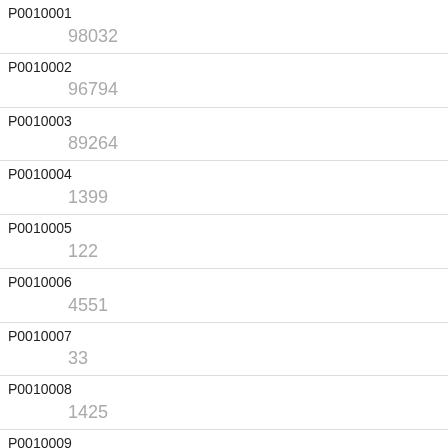| Code | Value |
| --- | --- |
| P0010001 | 98032 |
| P0010002 | 96794 |
| P0010003 | 89264 |
| P0010004 | 1399 |
| P0010005 | 122 |
| P0010006 | 4551 |
| P0010007 | 33 |
| P0010008 | 1425 |
| P0010009 | 1238 |
| P0010010 | 1170 |
| P0010011 |  |